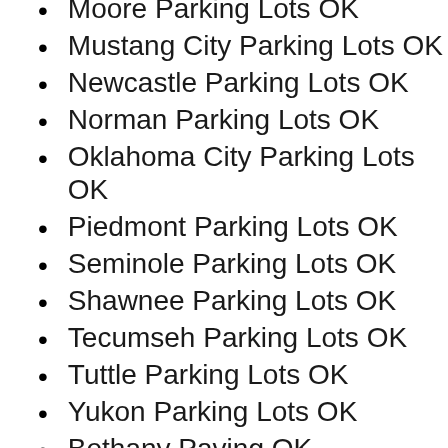Moore Parking Lots OK
Mustang City Parking Lots OK
Newcastle Parking Lots OK
Norman Parking Lots OK
Oklahoma City Parking Lots OK
Piedmont Parking Lots OK
Seminole Parking Lots OK
Shawnee Parking Lots OK
Tecumseh Parking Lots OK
Tuttle Parking Lots OK
Yukon Parking Lots OK
Bethany Paving OK
Chickasha Paving OK
Choctaw Paving OK